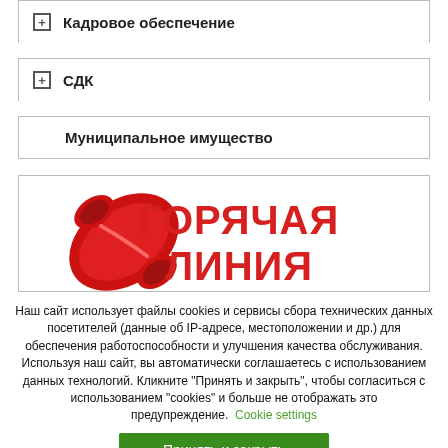+ Кадровое обеспечение
+ СДК
Муниципальное имущество
[Figure (illustration): Горячая линия banner with red phone handset image and bold red text 'ГОРЯЧАЯ ЛИНИЯ']
Наш сайт использует файлы cookies и сервисы сбора технических данных посетителей (данные об IP-адресе, местоположении и др.) для обеспечения работоспособности и улучшения качества обслуживания. Используя наш сайт, вы автоматически соглашаетесь с использованием данных технологий. Кликните "Принять и закрыть", чтобы согласиться с использованием "cookies" и больше не отображать это предупреждение. Cookie settings
Принять и закрыть